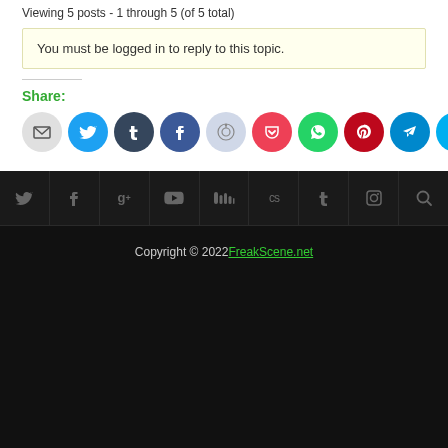Viewing 5 posts - 1 through 5 (of 5 total)
You must be logged in to reply to this topic.
Share:
[Figure (infographic): Row of social media share buttons as colored circles: Email (gray), Twitter (blue), Tumblr (dark blue), Facebook (blue), Reddit (light blue-gray), Pocket (red), WhatsApp (green), Pinterest (dark red), Telegram (blue), Skype (light blue)]
Social media icon bar with Twitter, Facebook, Google+, YouTube, SoundCloud, Last.fm, Tumblr, Instagram, Search icons
Copyright © 2022 FreakScene.net